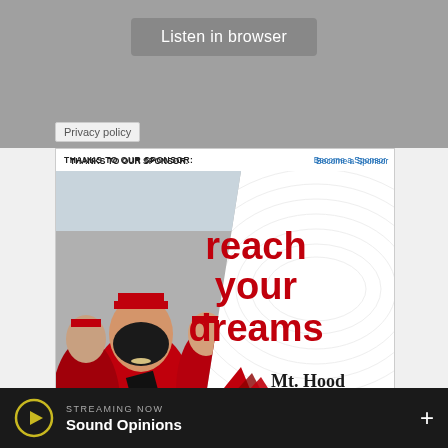[Figure (screenshot): Gray browser audio bar with 'Listen in browser' button]
Privacy policy
[Figure (infographic): Mt. Hood Community College sponsor advertisement showing graduating students in red caps and gowns with text 'reach your dreams' and Mt. Hood Community College logo]
THANKS TO OUR SPONSOR:
Become a Sponsor
reach your dreams
Mt. Hood Community College
STREAMING NOW
Sound Opinions